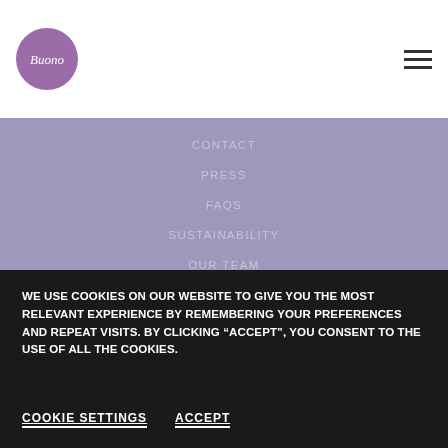[Figure (logo): Buono brand logo: circular purple badge with italic white script text 'Buono']
CONTACT
PRESS
FAQS
SUSTAINABILITY
OUR TEAM
CAREER
WE USE COOKIES ON OUR WEBSITE TO GIVE YOU THE MOST RELEVANT EXPERIENCE BY REMEMBERING YOUR PREFERENCES AND REPEAT VISITS. BY CLICKING “ACCEPT”, YOU CONSENT TO THE USE OF ALL THE COOKIES.
COOKIE SETTINGS   ACCEPT